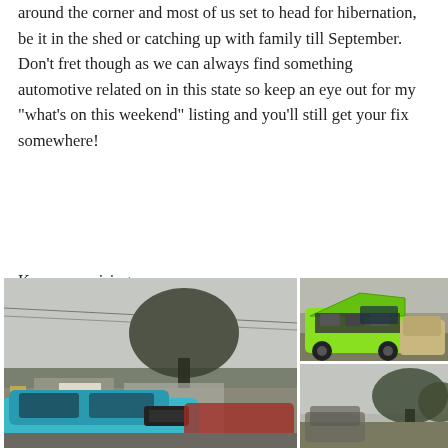around the corner and most of us set to head for hibernation, be it in the shed or catching up with family till September. Don't fret though as we can always find something automotive related on in this state so keep an eye out for my “what’s on this weekend” listing and you’ll still get your fix somewhere!
Keep on cruising,
Cheers,
Greg
[Figure (photo): Left photo: outdoor car show scene with a teal/turquoise classic car in foreground, trees and overcast sky, storefronts in background]
[Figure (photo): Top right photo: lime green classic car with hood open showing engine, other cars parked on grass/gravel area]
[Figure (photo): Bottom right photo: outdoor car show scene with trees and overcast sky]